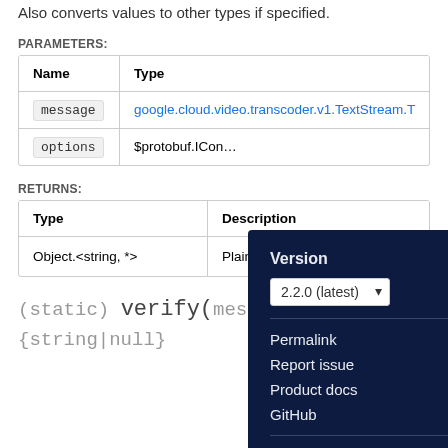Also converts values to other types if specified.
PARAMETERS:
| Name | Type |
| --- | --- |
| message | google.cloud.video.transcoder.v1.TextStream.T… |
| options | $protobuf.ICon… |
RETURNS:
| Type | Description |
| --- | --- |
| Object.<string, *> | Plain obj… |
(static) verify(message)
{string|null}
[Figure (screenshot): Version popup overlay with dark navy background showing: Version label, dropdown selector '2.2.0 (latest)', Permalink, Report issue, Product docs, GitHub links, divider, Privacy · Terms footer links, and an X close button.]